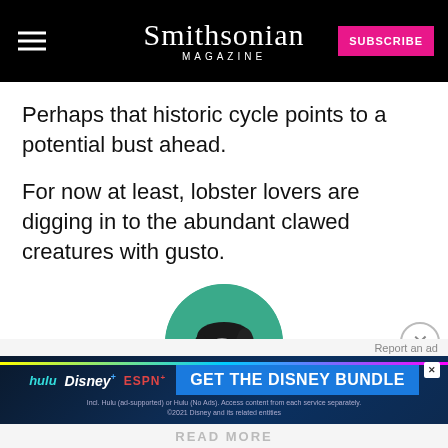Smithsonian MAGAZINE
Perhaps that historic cycle points to a potential bust ahead.
For now at least, lobster lovers are digging in to the abundant clawed creatures with gusto.
[Figure (photo): Circular headshot of a woman with dark hair and glasses against a green background, in black and white]
[Figure (other): Disney Bundle advertisement banner with hulu, Disney+, ESPN+ logos and 'GET THE DISNEY BUNDLE' call to action]